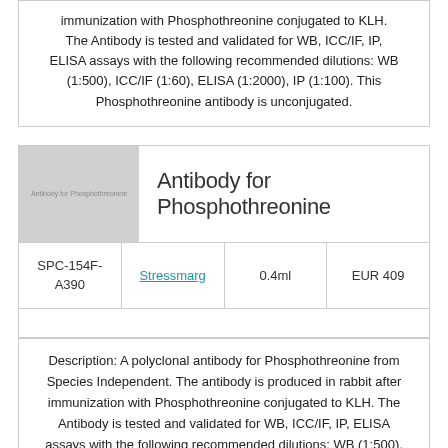immunization with Phosphothreonine conjugated to KLH. The Antibody is tested and validated for WB, ICC/IF, IP, ELISA assays with the following recommended dilutions: WB (1:500), ICC/IF (1:60), ELISA (1:2000), IP (1:100). This Phosphothreonine antibody is unconjugated.
[Figure (photo): Product image placeholder showing text 'Antibody for Phosphothreonine' on gray background]
Antibody for Phosphothreonine
|  | Supplier | Volume | Price |
| --- | --- | --- | --- |
| SPC-154F-A390 | Stressmarg | 0.4ml | EUR 409 |
Description: A polyclonal antibody for Phosphothreonine from Species Independent. The antibody is produced in rabbit after immunization with Phosphothreonine conjugated to KLH. The Antibody is tested and validated for WB, ICC/IF, IP, ELISA assays with the following recommended dilutions: WB (1:500),